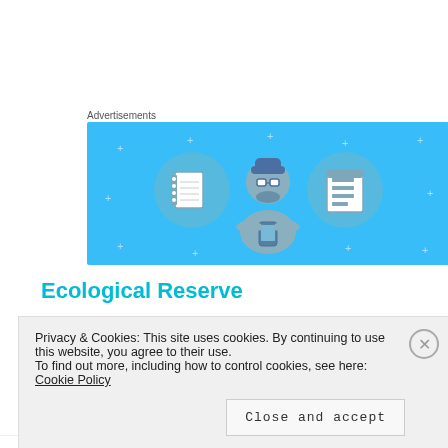Advertisements
[Figure (illustration): Advertisement banner with light blue background showing three illustrated icons: a spiral notebook on the left, a person with glasses holding a phone in the center, and a notepad/list on the right. Decorative plus signs scattered throughout.]
Ecological Reserve
The content below appears cut off by the cookie banner overlay.
Privacy & Cookies: This site uses cookies. By continuing to use this website, you agree to their use.
To find out more, including how to control cookies, see here: Cookie Policy
Close and accept